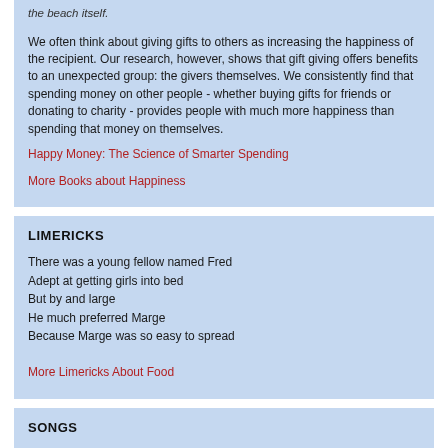the beach itself.
We often think about giving gifts to others as increasing the happiness of the recipient. Our research, however, shows that gift giving offers benefits to an unexpected group: the givers themselves. We consistently find that spending money on other people - whether buying gifts for friends or donating to charity - provides people with much more happiness than spending that money on themselves.
Happy Money: The Science of Smarter Spending
More Books about Happiness
LIMERICKS
There was a young fellow named Fred
Adept at getting girls into bed
But by and large
He much preferred Marge
Because Marge was so easy to spread
More Limericks About Food
SONGS
Imagine me and you, I do
I think about you day and night, it's only right
To think about the girl you love and hold her tight
So happy together